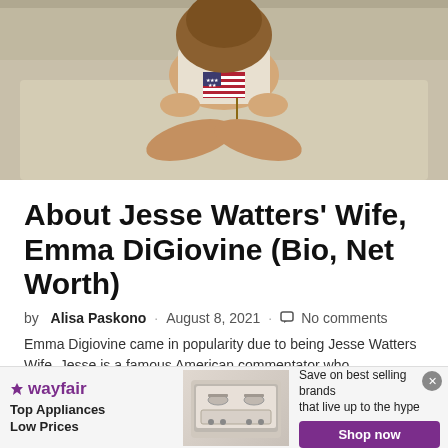[Figure (photo): Woman sitting cross-legged on a bed wearing a GUESS tank top and holding a small American flag]
About Jesse Watters' Wife, Emma DiGiovine (Bio, Net Worth)
by Alisa Paskono · August 8, 2021 · No comments
Emma Digiovine came in popularity due to being Jesse Watters Wife. Jesse is a famous American commentator who
[Figure (infographic): Wayfair advertisement banner: Top Appliances Low Prices, Save on best selling brands that live up to the hype, Shop now button]